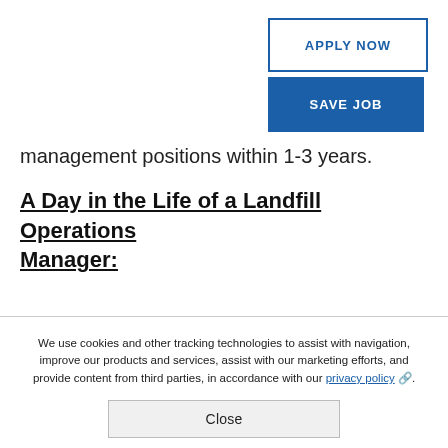APPLY NOW
SAVE JOB
management positions within 1-3 years.
A Day in the Life of a Landfill Operations Manager:
Oversees personnel needs of the site including selecting, coaching, disciplining, and training employees and evaluating
We use cookies and other tracking technologies to assist with navigation, improve our products and services, assist with our marketing efforts, and provide content from third parties, in accordance with our privacy policy.
Close